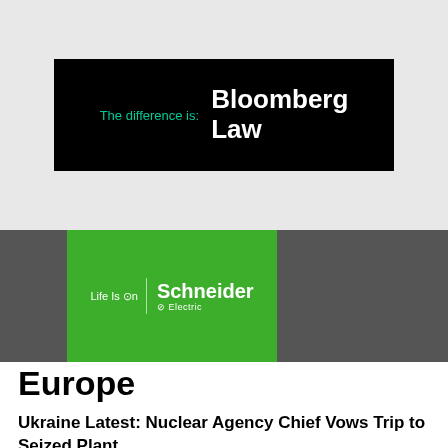[Figure (infographic): Bloomberg Law advertisement banner on dark background. Text reads 'The difference is: Bloomberg Law' with tagline in green and brand name in white bold.]
[Figure (infographic): Schneider Electric advertisement. Green overlay on dark background image showing industrial equipment. Text reads 'Life Is On | Schneider Electric' with logo.]
Europe
Ukraine Latest: Nuclear Agency Chief Vows Trip to Seized Plant